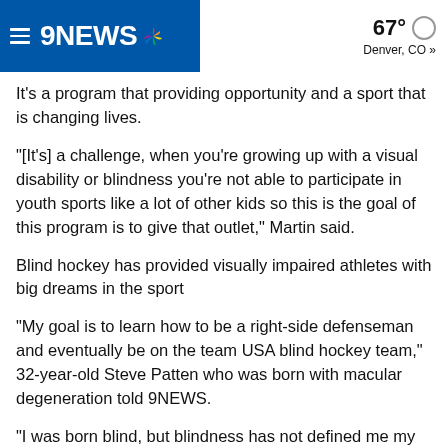9NEWS — 67° Denver, CO »
It's a program that providing opportunity and a sport that is changing lives.
"[It's] a challenge, when you're growing up with a visual disability or blindness you're not able to participate in youth sports like a lot of other kids so this is the goal of this program is to give that outlet," Martin said.
Blind hockey has provided visually impaired athletes with big dreams in the sport
“My goal is to learn how to be a right-side defenseman and eventually be on the team USA blind hockey team,” 32-year-old Steve Patten who was born with macular degeneration told 9NEWS.
“I was born blind, but blindness has not defined me my entire life,” Patten said. “There’s a huge difference between ability and disability, and we with our abilities to our disabilities…”